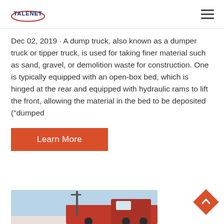TALENET logo and navigation menu
Dec 02, 2019 · A dump truck, also known as a dumper truck or tipper truck, is used for taking finer material such as sand, gravel, or demolition waste for construction. One is typically equipped with an open-box bed, which is hinged at the rear and equipped with hydraulic rams to lift the front, allowing the material in the bed to be deposited ("dumped
Learn More
[Figure (photo): Partial view of a dump truck / construction truck against a light blue sky background]